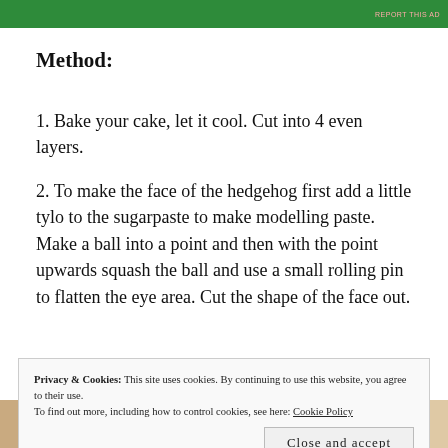[Figure (other): Green advertisement banner with logo and button at the top of the page, with 'REPORT THIS AD' text in small red letters on the right]
Method:
1. Bake your cake, let it cool. Cut into 4 even layers.
2. To make the face of the hedgehog first add a little tylo to the sugarpaste to make modelling paste. Make a ball into a point and then with the point upwards squash the ball and use a small rolling pin to flatten the eye area. Cut the shape of the face out.
Privacy & Cookies: This site uses cookies. By continuing to use this website, you agree to their use.
To find out more, including how to control cookies, see here: Cookie Policy
[Figure (photo): Two partially visible photos at the bottom of the page showing cake decorating steps]